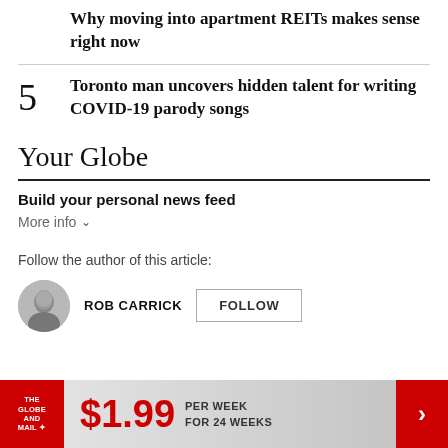Why moving into apartment REITs makes sense right now
5  Toronto man uncovers hidden talent for writing COVID-19 parody songs
Your Globe
Build your personal news feed
More info ∨
Follow the author of this article:
ROB CARRICK  FOLLOW
[Figure (other): Globe and Mail advertisement banner: $1.99 per week for 24 weeks]